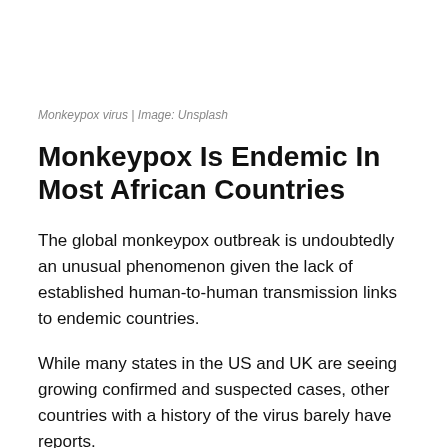Monkeypox virus | Image: Unsplash
Monkeypox Is Endemic In Most African Countries
The global monkeypox outbreak is undoubtedly an unusual phenomenon given the lack of established human-to-human transmission links to endemic countries.
While many states in the US and UK are seeing growing confirmed and suspected cases, other countries with a history of the virus barely have reports.
Some of these endemic countries include Cameroon,